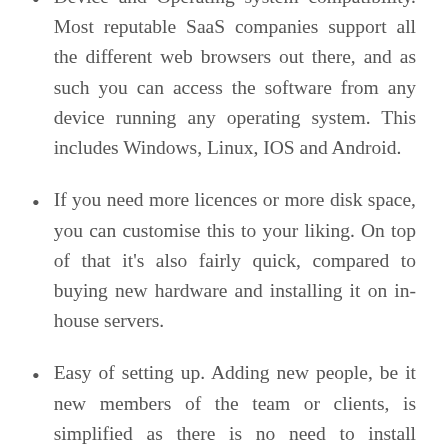Device and Operating system compatibility. Most reputable SaaS companies support all the different web browsers out there, and as such you can access the software from any device running any operating system. This includes Windows, Linux, IOS and Android.
If you need more licences or more disk space, you can customise this to your liking. On top of that it's also fairly quick, compared to buying new hardware and installing it on in-house servers.
Easy of setting up. Adding new people, be it new members of the team or clients, is simplified as there is no need to install anything.
Secure storage of information. Most web-based applications are heavily encrypted, which gives an advantage when you store information in the cloud